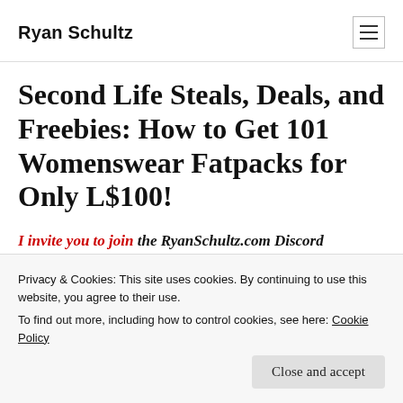Ryan Schultz
Second Life Steals, Deals, and Freebies: How to Get 101 Womenswear Fatpacks for Only L$100!
I invite you to join the RyanSchultz.com Discord
Privacy & Cookies: This site uses cookies. By continuing to use this website, you agree to their use.
To find out more, including how to control cookies, see here: Cookie Policy